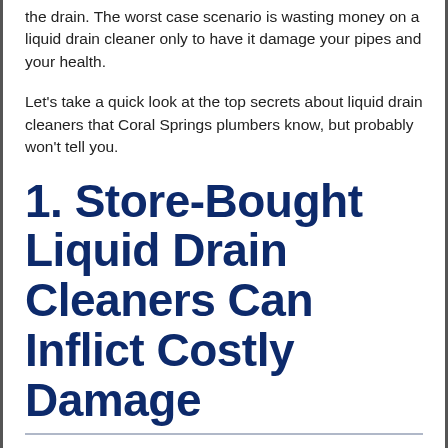the drain. The worst case scenario is wasting money on a liquid drain cleaner only to have it damage your pipes and your health.
Let's take a quick look at the top secrets about liquid drain cleaners that Coral Springs plumbers know, but probably won't tell you.
1. Store-Bought Liquid Drain Cleaners Can Inflict Costly Damage
Pipe damage is likely the last thing on your mind when using liquid drain cleaners to clear a clog. Nearly every